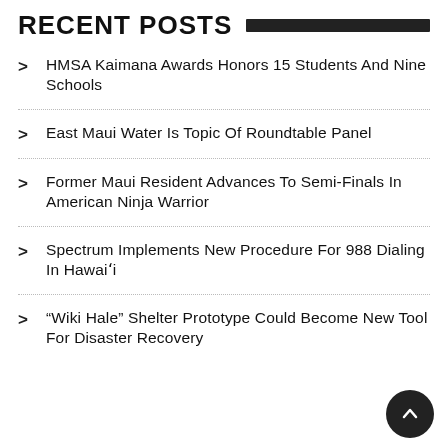RECENT POSTS
HMSA Kaimana Awards Honors 15 Students And Nine Schools
East Maui Water Is Topic Of Roundtable Panel
Former Maui Resident Advances To Semi-Finals In American Ninja Warrior
Spectrum Implements New Procedure For 988 Dialing In Hawaiʻi
“Wiki Hale” Shelter Prototype Could Become New Tool For Disaster Recovery